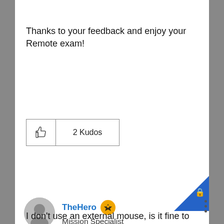Thanks to your feedback and enjoy your Remote exam!
[Figure (other): Thumbs up icon button with '2 Kudos' label in a bordered box]
[Figure (other): Blue triangle badge with lock icon in top-right corner]
[Figure (other): User avatar: grey circular profile silhouette icon]
TheHero
[Figure (other): Orange circular badge with rocket/astronaut icon]
Mission Specialist
I don't use an external mouse, is it fine to use the touchpad?